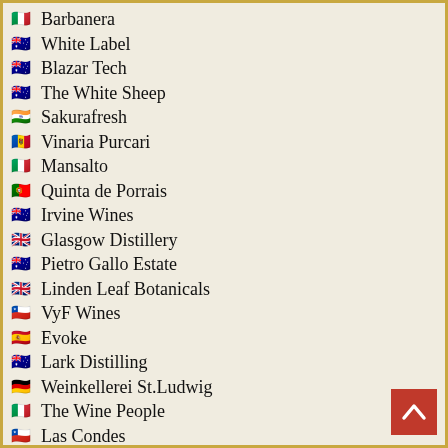🇮🇹 Barbanera
🇦🇺 White Label
🇦🇺 Blazar Tech
🇦🇺 The White Sheep
🇮🇳 Sakurafresh
🇲🇩 Vinaria Purcari
🇮🇹 Mansalto
🇵🇹 Quinta de Porrais
🇦🇺 Irvine Wines
🇬🇧 Glasgow Distillery
🇦🇺 Pietro Gallo Estate
🇬🇧 Linden Leaf Botanicals
🇨🇱 VyF Wines
🇪🇸 Evoke
🇦🇺 Lark Distilling
🇩🇪 Weinkellerei St.Ludwig
🇮🇹 The Wine People
🇨🇱 Las Condes
🇵🇹 Casa Ermelinda Freitas
🇮🇹 Italicus